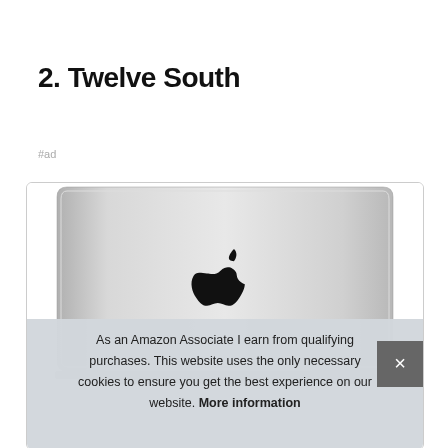2. Twelve South
#ad
[Figure (photo): MacBook laptop viewed from behind showing the Apple logo, with a cookie consent overlay at the bottom reading: As an Amazon Associate I earn from qualifying purchases. This website uses the only necessary cookies to ensure you get the best experience on our website. More information]
As an Amazon Associate I earn from qualifying purchases. This website uses the only necessary cookies to ensure you get the best experience on our website. More information